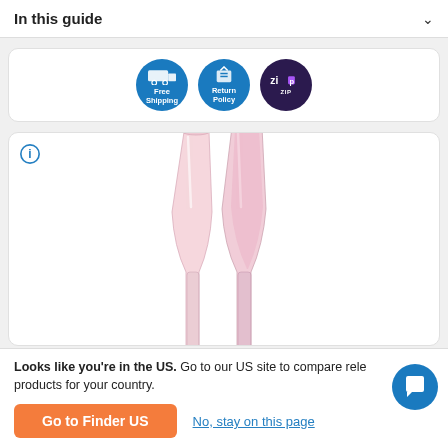In this guide
[Figure (infographic): Three circular badge icons: Free Shipping (blue), Return Policy (blue), and Zip pay (dark purple) logos]
[Figure (photo): Two tall, slender pink champagne flute glasses on a white background]
Looks like you're in the US. Go to our US site to compare relevant products for your country.
Go to Finder US
No, stay on this page